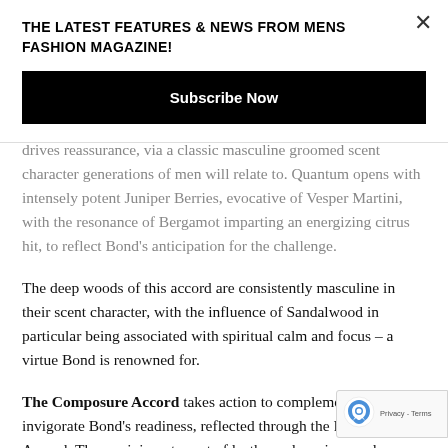THE LATEST FEATURES & NEWS FROM MENS FASHION MAGAZINE!
Subscribe Now
drives reassurance, via a classic masculine groomed scent character generations of men will relate to. Quantum opens with intensely potent Juniper Berries, evocative of Vesper Martini, with the resonance of Bergamot imparting an energizing citrus hit, to reflect Bond's anticipation for the challenge.
The deep woods of this accord are consistently masculine in their scent character, with the influence of Sandalwood in particular being associated with spiritual calm and focus – a virtue Bond is renowned for.
The Composure Accord takes action to complement and invigorate Bond's readiness, reflected through the Raw M... Accord. The reminiscent scent of leather, a luxurious and material featured in Bond's elite and exclusive sports cars... component to the Composure Accord; imparting its timeless and